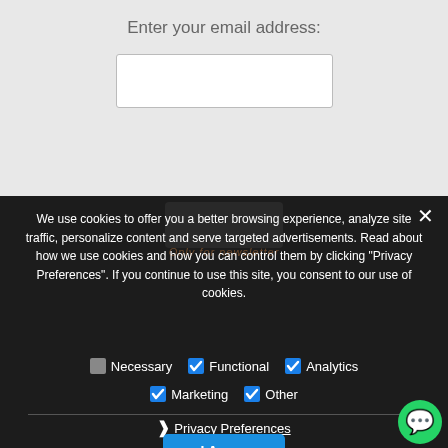Enter your email address:
We use cookies to offer you a better browsing experience, analyze site traffic, personalize content and serve targeted advertisements. Read about how we use cookies and how you can control them by clicking "Privacy Preferences". If you continue to use this site, you consent to our use of cookies.
Necessary (unchecked), Functional (checked), Analytics (checked)
Marketing (checked), Other (checked)
❯ Privacy Preferences
I Agree